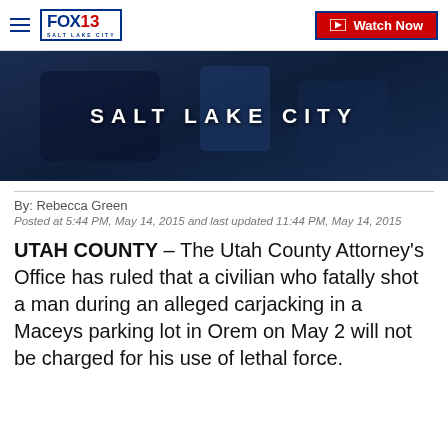FOX 13 SALT LAKE CITY | Watch Now
[Figure (photo): Dark blue-toned news broadcast image with text 'SALT LAKE CITY' displayed prominently in white capital letters]
By: Rebecca Green
Posted at 5:44 PM, May 14, 2015 and last updated 11:44 PM, May 14, 2015
UTAH COUNTY – The Utah County Attorney's Office has ruled that a civilian who fatally shot a man during an alleged carjacking in a Maceys parking lot in Orem on May 2 will not be charged for his use of lethal force.